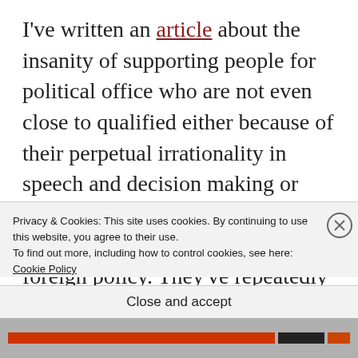I've written an article about the insanity of supporting people for political office who are not even close to qualified either because of their perpetual irrationality in speech and decision making or their shockingly weak knowledge of governmental functions and foreign policy. They've repeatedly demonstrated a profound lack of political realism in relation
Privacy & Cookies: This site uses cookies. By continuing to use this website, you agree to their use.
To find out more, including how to control cookies, see here: Cookie Policy
Close and accept